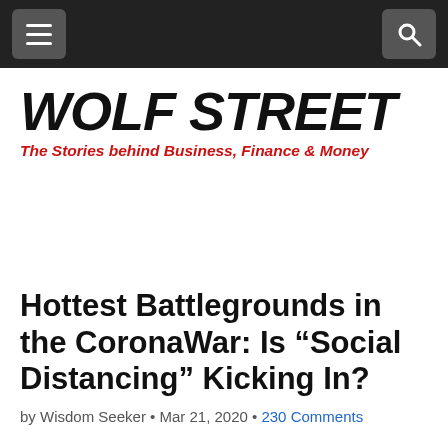WOLF STREET — navigation bar with menu and search icons
WOLF STREET
The Stories behind Business, Finance & Money
Hottest Battlegrounds in the CoronaWar: Is “Social Distancing” Kicking In?
by Wisdom Seeker • Mar 21, 2020 • 230 Comments